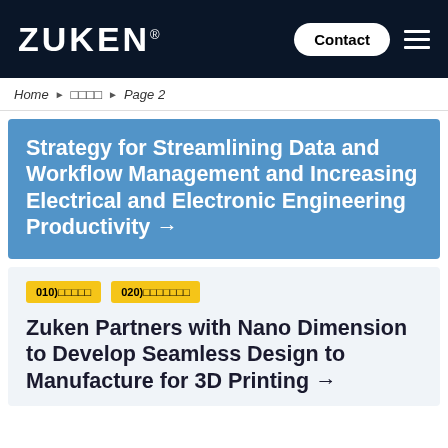ZUKEN® Contact ☰
Home ▶ □□□□ ▶ Page 2
Strategy for Streamlining Data and Workflow Management and Increasing Electrical and Electronic Engineering Productivity →
010)□□□□□
020)□□□□□□□
Zuken Partners with Nano Dimension to Develop Seamless Design to Manufacture for 3D Printing →